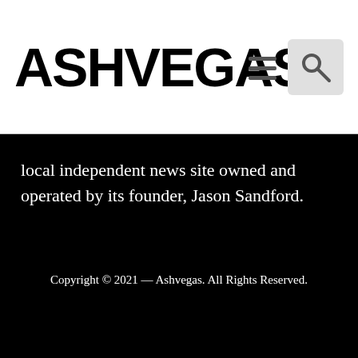ASHVEGAS
local independent news site owned and operated by its founder, Jason Sandford.
Copyright © 2021 — Ashvegas. All Rights Reserved.
Related Stories
[Figure (logo): Ashvegas circular logo with illustrated cityscape]
As it pursues bogus littering charges against citizens, Asheville trashes ideal of compassionate city